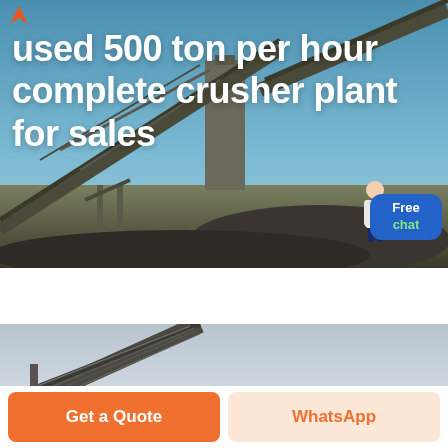[Figure (photo): Industrial crusher plant with conveyor belts and machinery against a blue sky, with piles of crushed stone in the foreground. A female assistant figure and a blue 'Free chat' button overlay the right side.]
used 500 ton per hour complete crusher plant for sales
[Figure (photo): Close-up of industrial conveyor belt structure against a light grey sky, partial view.]
Get a Quote
WhatsApp